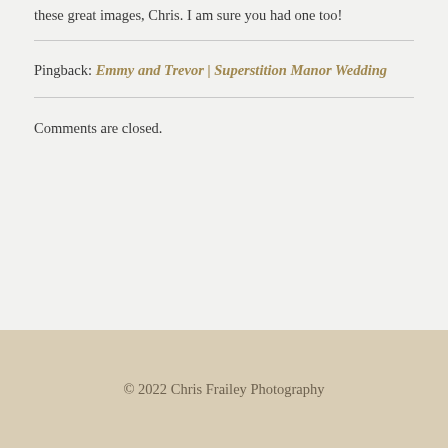these great images, Chris. I am sure you had one too!
Pingback: Emmy and Trevor | Superstition Manor Wedding
Comments are closed.
© 2022 Chris Frailey Photography